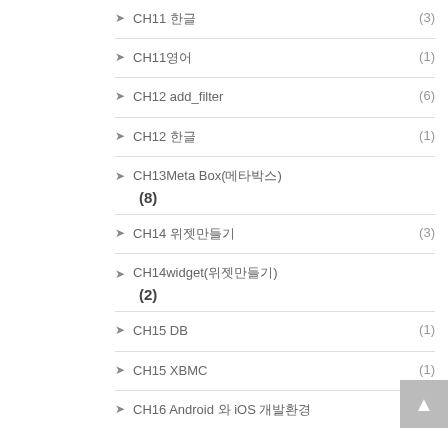CH11 한글 (3)
CH11영어 (1)
CH12 add_filter (6)
CH12 한글 (1)
CH13Meta Box(메타박스) (8)
CH14 위젯만들기 (3)
CH14widget(위젯만들기) (2)
CH15 DB (1)
CH15 XBMC (1)
CH16 Android 와 iOS 개발환경